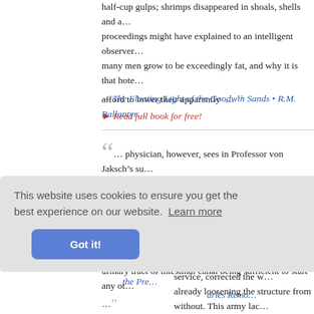half-cup gulps; shrimps disappeared in shoals, shells and all. These proceedings might have explained to an intelligent observer why so many men grow to be exceedingly fat, and why it is that hotels can afford to lower their apparently ... ””
— The Floating Light of the Goodwin Sands • R.M. Ballantyne
▸ Read full book for free!
““... physician, however, sees in Professor von Jaksch’s su... point of many a poor fellow’s career,—from one of comparative health to that of organic disintegration, decay, and dissolution,—all the rest starting visibly from the very smallest of beginnings; any obs... urinary tract or intestinal canal being sufficient to start any other ... ””
History of Circumcision from the Earliest Times to the Pre... arles Remo...
This website uses cookies to ensure you get the best experience on our website. Learn more
Got it!
...tion go fo... opinions am... the growing disaffection for military service, corrected the w... already loosening the structure from without. This army lac...